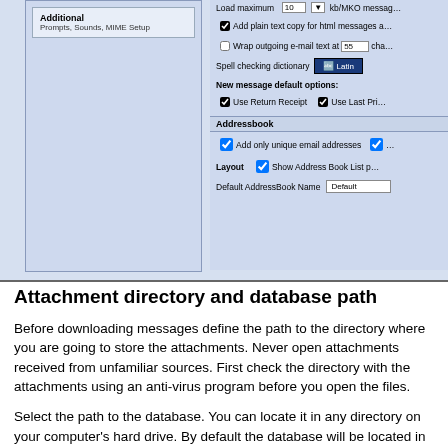[Figure (screenshot): Email client settings dialog screenshot showing left panel with 'Additional' section (Prompts, Sounds, MIME Setup) and right panel with options: Load maximum messages dropdown, Add plain text copy for html messages checkbox, Wrap outgoing e-mail text at 55 characters, Spell checking dictionary with Latin dropdown, New message default options section with Use Return Receipt and Use Last Priority checkboxes, Addressbook section with Add only unique email addresses checkbox, Layout with Show Address Book List checkbox, Default AddressBook Name field showing 'Default']
Attachment directory and database path
Before downloading messages define the path to the directory where you are going to store the attachments. Never open attachments received from unfamiliar sources. First check the directory with the attachments using an anti-virus program before you open the files.
Select the path to the database. You can locate it in any directory on your computer's hard drive. By default the database will be located in the same